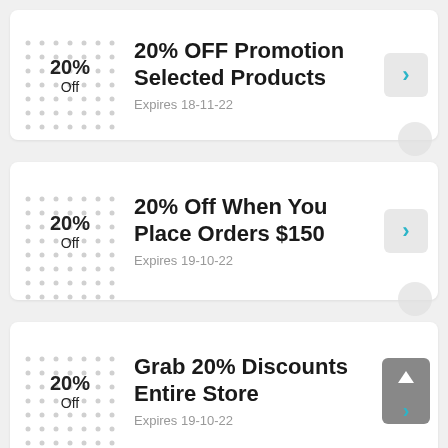20% OFF Promotion Selected Products
Expires 18-11-22
20% Off When You Place Orders $150
Expires 19-10-22
Grab 20% Discounts Entire Store
Expires 19-10-22